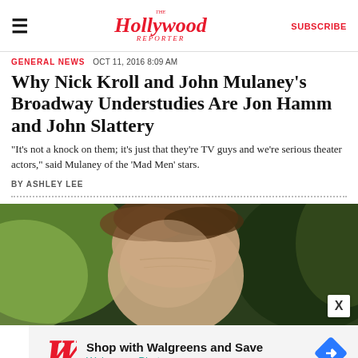The Hollywood Reporter | SUBSCRIBE
GENERAL NEWS   OCT 11, 2016  8:09 AM
Why Nick Kroll and John Mulaney's Broadway Understudies Are Jon Hamm and John Slattery
"It's not a knock on them; it's just that they're TV guys and we're serious theater actors," said Mulaney of the 'Mad Men' stars.
BY ASHLEY LEE
[Figure (photo): Close-up photo of a person's head/forehead against a blurred green outdoor background]
[Figure (infographic): Walgreens advertisement: Shop with Walgreens and Save - Walgreens Photo, with Walgreens logo and blue arrow icon]